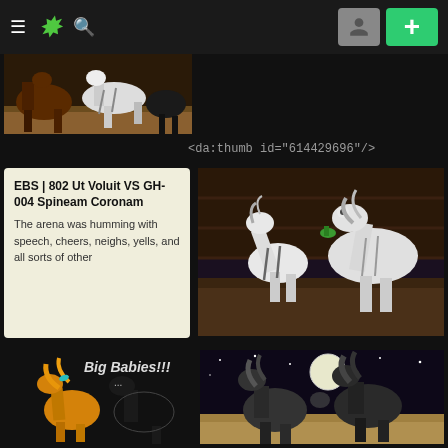DeviantArt navigation bar with hamburger menu, logo, search icon, avatar, and add button
[Figure (illustration): Partial thumbnail of fantasy horse creatures on a desert/sandy background, top-left cropped]
<da:thumb id="614429696"/>
[Figure (illustration): Card preview showing title 'EBS | 802 Ut Voluit VS GH-004 Spineam Coronam' and text 'The arena was humming with speech, cheers, neighs, yells, and all sorts of other']
[Figure (illustration): Two white fantasy horses/equines fighting in a dark arena, one rearing up]
[Figure (illustration): Cartoon illustration of orange and black fantasy horses with text 'Big Babies!!!']
[Figure (illustration): Two dark horses or creatures fighting at night under a large moon]
[Figure (illustration): Partially visible image of a horse/creature with teal mane, bottom portion visible]